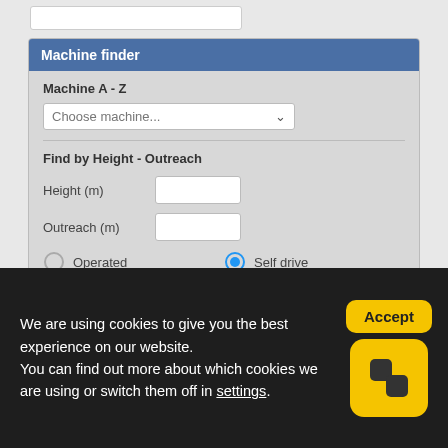[Figure (screenshot): Top partial search input box partially visible at the top of the page]
Machine finder
Machine A - Z
Choose machine...
Find by Height - Outreach
Height (m)
Outreach (m)
Operated
Self drive
Internal
External
Search
View entire Facelift Fleet
We are using cookies to give you the best experience on our website.
You can find out more about which cookies we are using or switch them off in settings.
Accept